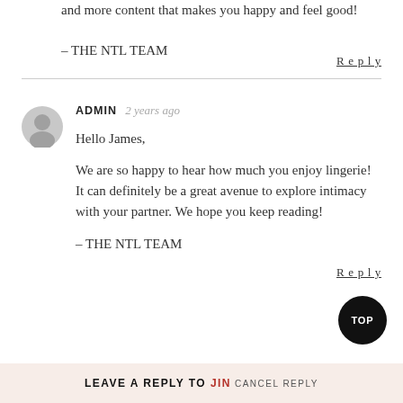and more content that makes you happy and feel good!
– THE NTL TEAM
Reply
ADMIN  2 years ago
Hello James,

We are so happy to hear how much you enjoy lingerie! It can definitely be a great avenue to explore intimacy with your partner. We hope you keep reading!

– THE NTL TEAM
Reply
TOP
LEAVE A REPLY TO JIN  CANCEL REPLY